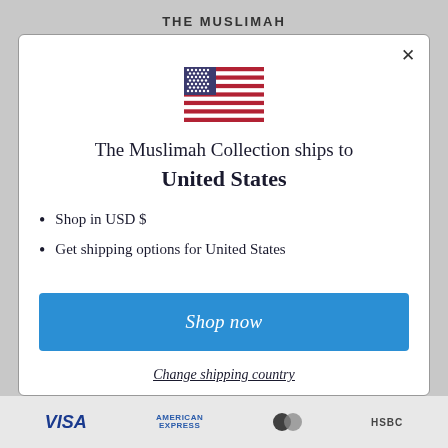THE MUSLIMAH
[Figure (illustration): US flag icon]
The Muslimah Collection ships to United States
Shop in USD $
Get shipping options for United States
Shop now
Change shipping country
VISA  AMERICAN EXPRESS  Mastercard  HSBC